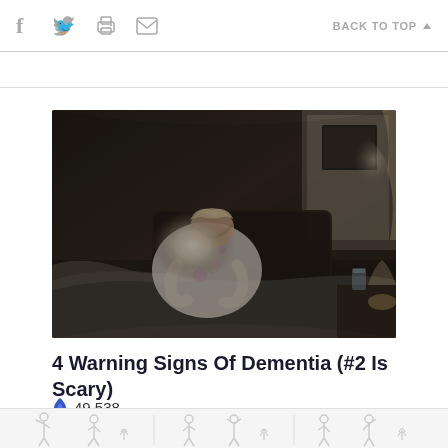f  social icons  BACK TO TOP ▲
[Figure (photo): An elderly woman in a floral bathrobe sitting on a bed, hunched over with head bowed, in a dimly lit bedroom with a window and nightstand visible.]
4 Warning Signs Of Dementia (#2 Is Scary)
🔥 49,538
[Figure (illustration): Bottom strip showing small silhouette figures of people in various poses.]